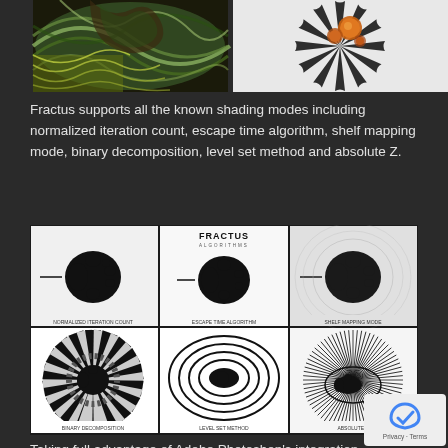[Figure (illustration): Two fractal images side by side: left is a colorful swirling fractal with green and brown tones, right is a black and white floral/pinwheel fractal with orange spheres]
Fractus supports all the known shading modes including normalized iteration count, escape time algorithm, shelf mapping mode, binary decomposition, level set method and absolute Z.
[Figure (illustration): Grid of 6 fractal images (3x2): top row shows Mandelbrot set variations labeled 'NORMALIZED ITERATION COUNT', 'ESCAPE TIME ALGORITHM', 'SHELF MAPPING MODE'; bottom row shows further variations labeled 'BINARY DECOMPOSITION', 'LEVEL SET METHOD', 'ABSOLUTE Z'. Center top image has FRACTUS ALGORITHMS text.]
Taking full advantage of Adobe Photoshop's integration